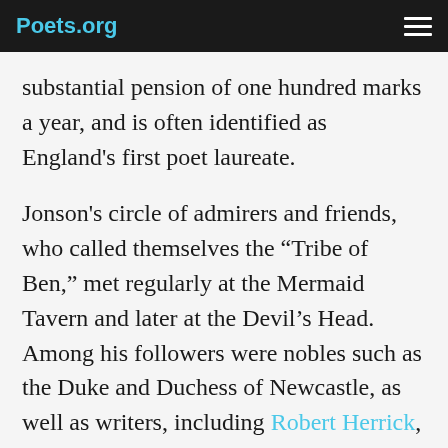Poets.org
substantial pension of one hundred marks a year, and is often identified as England's first poet laureate.

Jonson's circle of admirers and friends, who called themselves the “Tribe of Ben,” met regularly at the Mermaid Tavern and later at the Devil's Head. Among his followers were nobles such as the Duke and Duchess of Newcastle, as well as writers, including Robert Herrick, Richard Lovelace, Sir John Suckling, James Howell, and Thomas Carew. Most of his well-known poems include tributes to friends, notably Shakespeare, John Donne, and Francis Bacon.